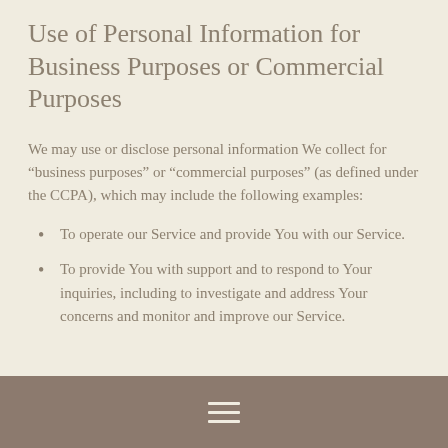Use of Personal Information for Business Purposes or Commercial Purposes
We may use or disclose personal information We collect for “business purposes” or “commercial purposes” (as defined under the CCPA), which may include the following examples:
To operate our Service and provide You with our Service.
To provide You with support and to respond to Your inquiries, including to investigate and address Your concerns and monitor and improve our Service.
hamburger menu icon